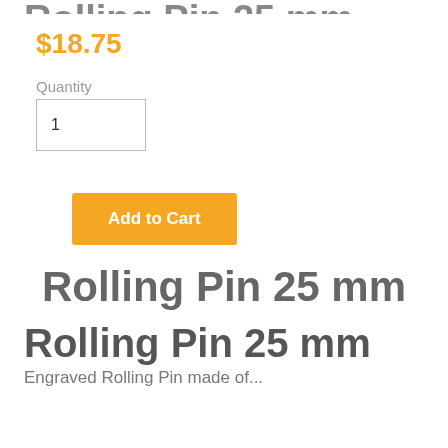Rolling Pin 25 mm
$18.75
Quantity
1
Add to Cart
Rolling Pin 25 mm
Rolling Pin 25 mm
Engraved Rolling Pin...